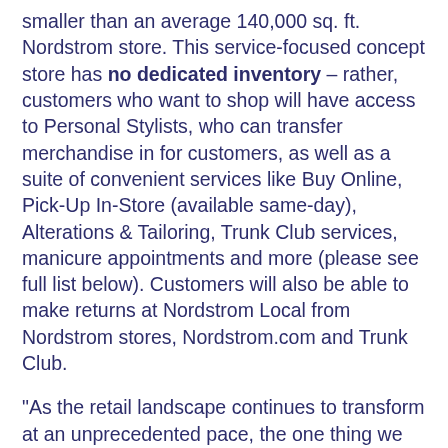smaller than an average 140,000 sq. ft. Nordstrom store. This service-focused concept store has no dedicated inventory – rather, customers who want to shop will have access to Personal Stylists, who can transfer merchandise in for customers, as well as a suite of convenient services like Buy Online, Pick-Up In-Store (available same-day), Alterations & Tailoring, Trunk Club services, manicure appointments and more (please see full list below). Customers will also be able to make returns at Nordstrom Local from Nordstrom stores, Nordstrom.com and Trunk Club.
"As the retail landscape continues to transform at an unprecedented pace, the one thing we know that remains constant is that customers continue to value great service, speed and convenience," said Shea Jensen, Nordstrom senior vice president of customer experience who led the Nordstrom Local initiative. "We know there are more and more demands on a customer's time and we wanted to offer our best services in a convenient location to meet their shopping needs. Finding new ways to engage with customers on their terms is more important to us now than